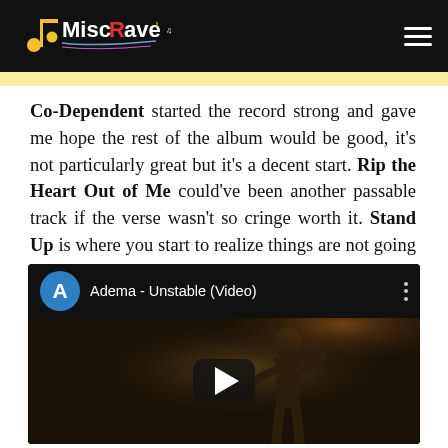MiscRave [logo] — navigation menu
Co-Dependent started the record strong and gave me hope the rest of the album would be good, it's not particularly great but it's a decent start. Rip the Heart Out of Me could've been another passable track if the verse wasn't so cringe worth it. Stand Up is where you start to realize things are not going the right path, I like some of the riffs but god the lyrics did seem like parodies of nu-metal.
[Figure (screenshot): YouTube video embed thumbnail for 'Adema - Unstable (Video)' showing a dark video frame with a performer and a play button overlay. The video header shows a blue 'A' avatar circle and the title 'Adema - Unstable (Video)' with a three-dot menu icon.]